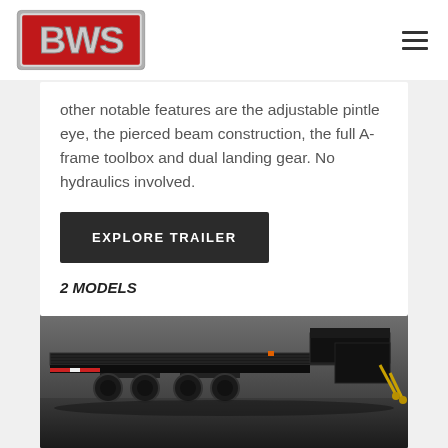BWS logo and navigation
other notable features are the adjustable pintle eye, the pierced beam construction, the full A-frame toolbox and dual landing gear. No hydraulics involved.
EXPLORE TRAILER
2 MODELS
[Figure (photo): A black flatbed semi-trailer photographed in a studio setting against a dark grey background, showing the full side profile with dual axles, red and white reflective tape, and yellow rigging hooks visible at the right end.]